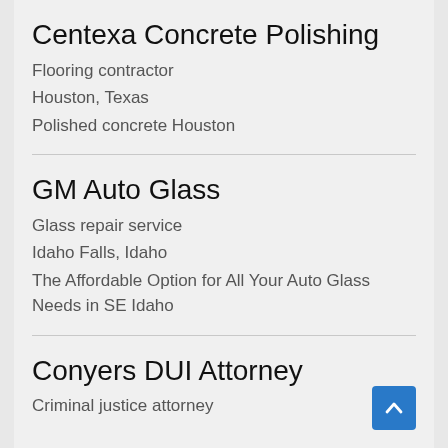Centexa Concrete Polishing
Flooring contractor
Houston, Texas
Polished concrete Houston
GM Auto Glass
Glass repair service
Idaho Falls, Idaho
The Affordable Option for All Your Auto Glass Needs in SE Idaho
Conyers DUI Attorney
Criminal justice attorney